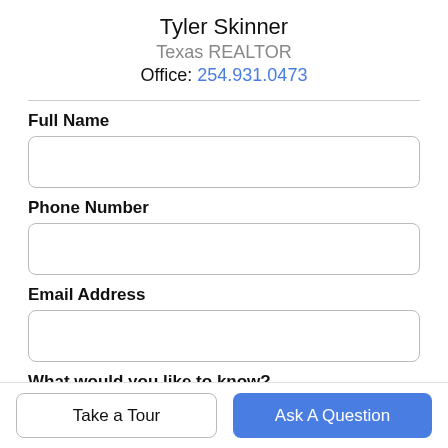Tyler Skinner
Texas REALTOR
Office: 254.931.0473
Full Name
Phone Number
Email Address
What would you like to know?
Take a Tour
Ask A Question